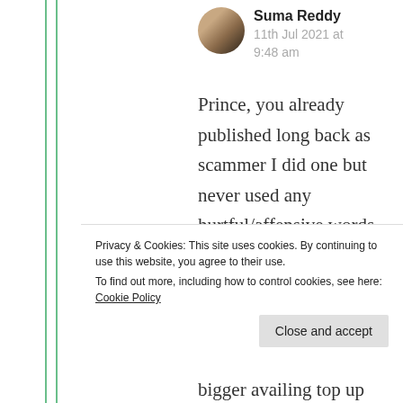Suma Reddy
11th Jul 2021 at 9:48 am
Prince, you already published long back as scammer I did one but never used any hurtful/affensive words against you. Again you are hoing back there, Yes
Privacy & Cookies: This site uses cookies. By continuing to use this website, you agree to their use. To find out more, including how to control cookies, see here: Cookie Policy
Close and accept
bigger availing top up